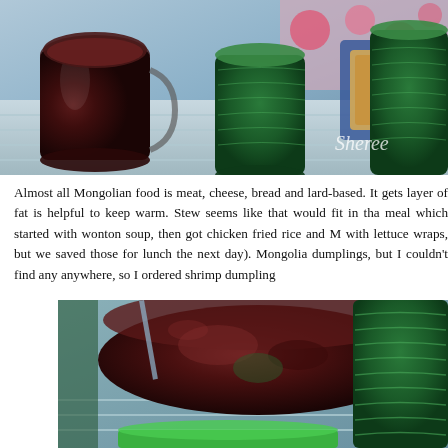[Figure (photo): Photo of a table setting with a glass pitcher of dark red liquid, two green textured drinking glasses, a blue bowl with food (chicken fried rice), and colorful background items. Watermark 'Sheree' visible in lower right of image.]
Almost all Mongolian food is meat, cheese, bread and lard-based. It gets layer of fat is helpful to keep warm. Stew seems like that would fit in tha meal which started with wonton soup, then got chicken fried rice and M with lettuce wraps, but we saved those for lunch the next day). Mongolia dumplings, but I couldn't find any anywhere, so I ordered shrimp dumpling
[Figure (photo): Close-up photo of a glass pitcher or bowl filled with dark red liquid, with green textured glass visible on the right side and colorful background. Bottom of image shows a green rim of a plate or bowl.]